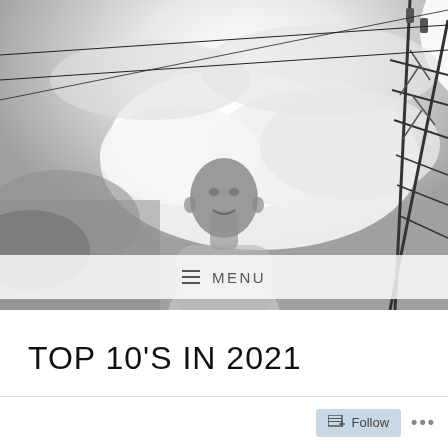[Figure (photo): Black and white photo of a bald man standing outdoors under dramatic cloudy sky with electrical power transmission tower/pylon visible on the right side. Power lines cross the upper portion of the image.]
MENU
TOP 10'S IN 2021
Follow ...